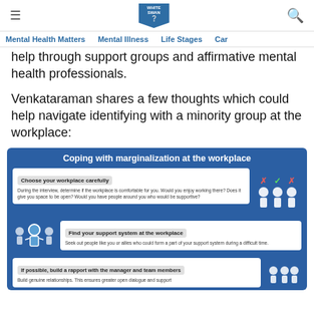Mental Health Matters | Mental Illness | Life Stages | Car...
help through support groups and affirmative mental health professionals.
Venkataraman shares a few thoughts which could help navigate identifying with a minority group at the workplace:
[Figure (infographic): Infographic titled 'Coping with marginalization at the workplace' with three sections: 1) Choose your workplace carefully - During the interview, determine if the workplace is comfortable for you. Would you enjoy working there? Does it give you space to be open? Would you have people around you who would be supportive? 2) Find your support system at the workplace - Seek out people like you or allies who could form a part of your support system during a difficult time. 3) If possible, build a rapport with the manager and team members - Build genuine relationships. This ensures greater open dialogue and support.]